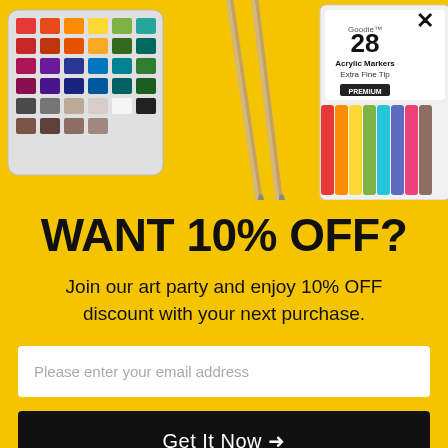[Figure (photo): Flat lay of art supplies on a yellow background: a watercolor palette with many colors on the left, two wooden paintbrushes in the center, and a set of 28 Acrylic Markers Extra Fine Tip (Goodie brand) on the right.]
WANT 10% OFF?
Join our art party and enjoy 10% OFF discount with your next purchase.
Please enter your email address
Get It Now →